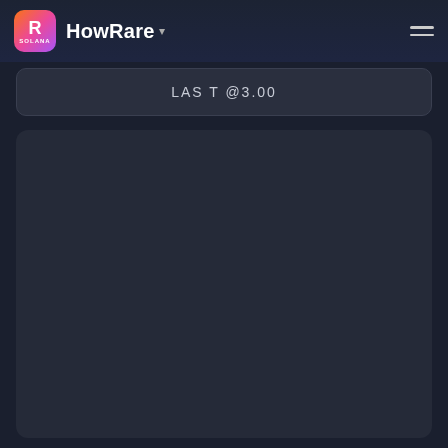HowRare
LAST @3.00
[Figure (other): Large empty dark panel area, likely a loading or placeholder content region]